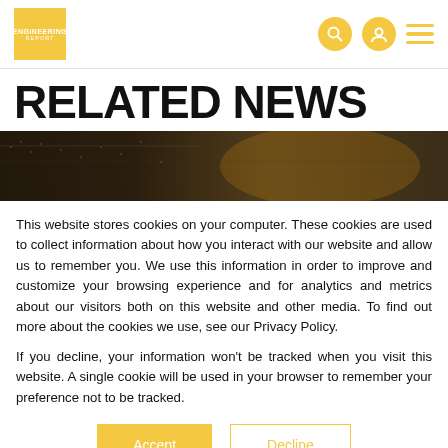ENGINEERING REPORT — logo with search, user, and menu icons
RELATED NEWS
[Figure (photo): Dark image of electronic circuit board / server equipment with warm amber lighting]
This website stores cookies on your computer. These cookies are used to collect information about how you interact with our website and allow us to remember you. We use this information in order to improve and customize your browsing experience and for analytics and metrics about our visitors both on this website and other media. To find out more about the cookies we use, see our Privacy Policy.
If you decline, your information won't be tracked when you visit this website. A single cookie will be used in your browser to remember your preference not to be tracked.
Accept | Decline